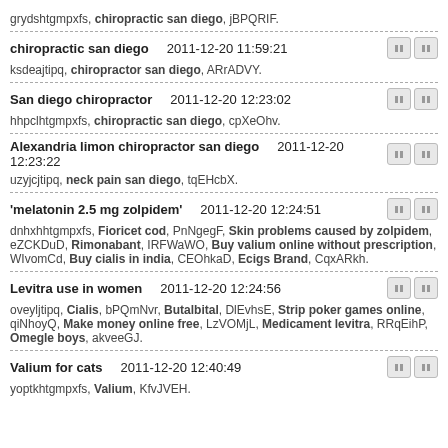grydshtgmpxfs, chiropractic san diego, jBPQRIF.
chiropractic san diego    2011-12-20 11:59:21
ksdeajtipq, chiropractor san diego, ARrADVY.
San diego chiropractor    2011-12-20 12:23:02
hhpclhtgmpxfs, chiropractic san diego, cpXeOhv.
Alexandria limon chiropractor san diego    2011-12-20 12:23:22
uzyjcjtipq, neck pain san diego, tqEHcbX.
'melatonin 2.5 mg zolpidem'    2011-12-20 12:24:51
dnhxhhtgmpxfs, Fioricet cod, PnNgegF, Skin problems caused by zolpidem, eZCKDuD, Rimonabant, IRFWaWO, Buy valium online without prescription, WIvomCd, Buy cialis in india, CEOhkaD, Ecigs Brand, CqxARkh.
Levitra use in women    2011-12-20 12:24:56
oveyljtipq, Cialis, bPQmNvr, Butalbital, DlEvhsE, Strip poker games online, qiNhoyQ, Make money online free, LzVOMjL, Medicament levitra, RRqEihP, Omegle boys, akveeGJ.
Valium for cats    2011-12-20 12:40:49
yoptkhtgmpxfs, Valium, KfvJVEH.